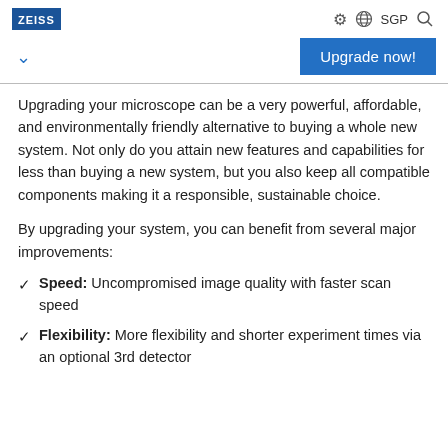ZEISS  SGP
Upgrading your microscope can be a very powerful, affordable, and environmentally friendly alternative to buying a whole new system. Not only do you attain new features and capabilities for less than buying a new system, but you also keep all compatible components making it a responsible, sustainable choice.
By upgrading your system, you can benefit from several major improvements:
Speed: Uncompromised image quality with faster scan speed
Flexibility: More flexibility and shorter experiment times via an optional 3rd detector